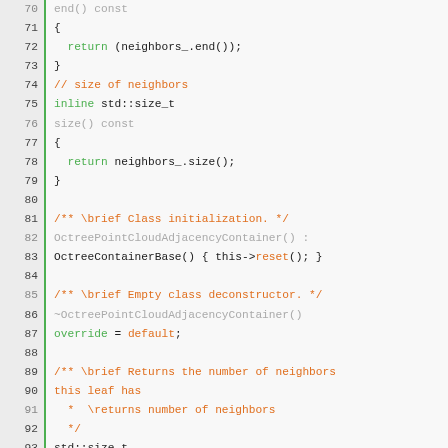[Figure (screenshot): Source code listing of a C++ class (OctreePointCloudAdjacencyContainer) showing lines 70-100, with line numbers on the left, green vertical bar separator, syntax-highlighted code in monospace font on a light gray background. Keywords in green, comments and function names in orange.]